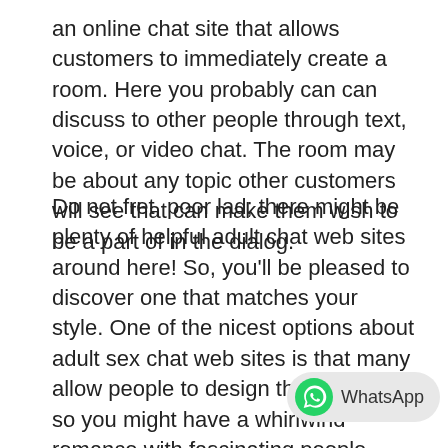an online chat site that allows customers to immediately create a room. Here you probably can can discuss to other people through text, voice, or video chat. The room may be about any topic other customers will see that can make them wish to be a part of in the dialog.
Do not fret, poor lad; there might be plenty of helpful adult chat web sites around here! So, you'll be pleased to discover one that matches your style. One of the nicest options about adult sex chat web sites is that many allow people to design their profiles, so you might have a whirlwind romance with fascinating people. Well, these adult sex chat sites assist you to discover ladies are up for good fucking and role-playing. The website promotes and encourages fantasy sharing and openness about sexual proclivities, which is what an sincere to a great adult chat courting site should be doing. For the puritanical person who has reservations about sexual expression, AdultF may not be for you.